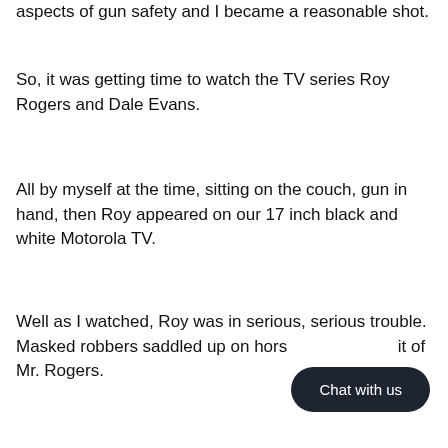aspects of gun safety and I became a reasonable shot.
So, it was getting time to watch the TV series Roy Rogers and Dale Evans.
All by myself at the time, sitting on the couch, gun in hand, then Roy appeared on our 17 inch black and white Motorola TV.
Well as I watched, Roy was in serious, serious trouble. Masked robbers saddled up on hors[e…] it of Mr. Rogers.